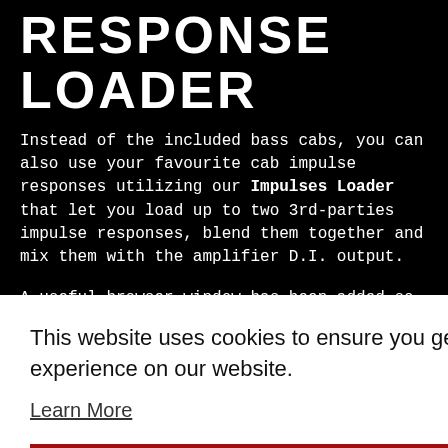RESPONSE LOADER
Instead of the included bass cabs, you can also use your favourite cab impulse responses utilizing our Impulses Loader that let you load up to two 3rd-parties impulse responses, blend them together and mix them with the amplifier D.I. output.
A useful browser window has been added so you can easily search through all your third parts IR files.
This website uses cookies to ensure you get the best experience on our website.
Learn More
Got it!
BIAS FREQUENCY